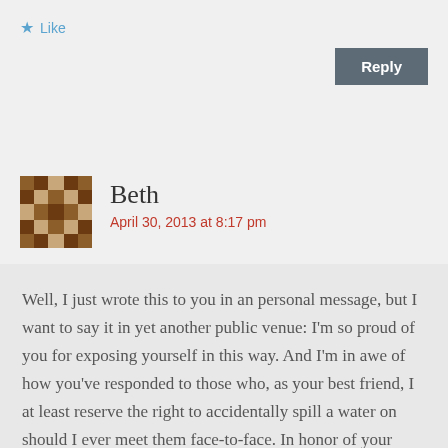Like
Reply
Beth
April 30, 2013 at 8:17 pm
Well, I just wrote this to you in an personal message, but I want to say it in yet another public venue: I'm so proud of you for exposing yourself in this way. And I'm in awe of how you've responded to those who, as your best friend, I at least reserve the right to accidentally spill a water on should I ever meet them face-to-face. In honor of your maturity, I've edited myself into